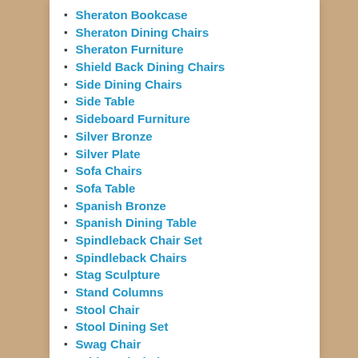Sheraton Bookcase
Sheraton Dining Chairs
Sheraton Furniture
Shield Back Dining Chairs
Side Dining Chairs
Side Table
Sideboard Furniture
Silver Bronze
Silver Plate
Sofa Chairs
Sofa Table
Spanish Bronze
Spanish Dining Table
Spindleback Chair Set
Spindleback Chairs
Stag Sculpture
Stand Columns
Stool Chair
Stool Dining Set
Swag Chair
Table and Chairs